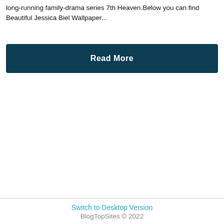long-running family-drama series 7th Heaven.Below you can find Beautiful Jessica Biel Wallpaper...
Read More
Switch to Desktop Version
BlogTopSites © 2022